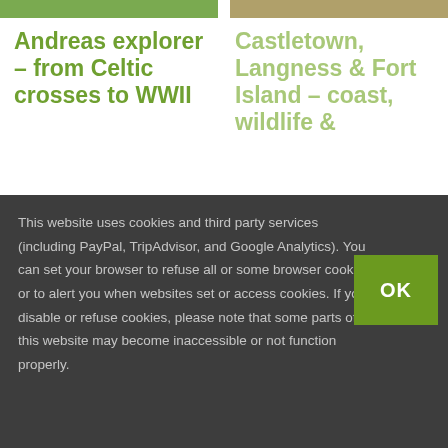[Figure (photo): Top-left photo strip showing greenery]
[Figure (photo): Top-right photo strip showing landscape/ground]
Andreas explorer – from Celtic crosses to WWII
Castletown, Langness & Fort Island – coast, wildlife &
This website uses cookies and third party services (including PayPal, TripAdvisor, and Google Analytics). You can set your browser to refuse all or some browser cookies, or to alert you when websites set or access cookies. If you disable or refuse cookies, please note that some parts of this website may become inaccessible or not function properly.